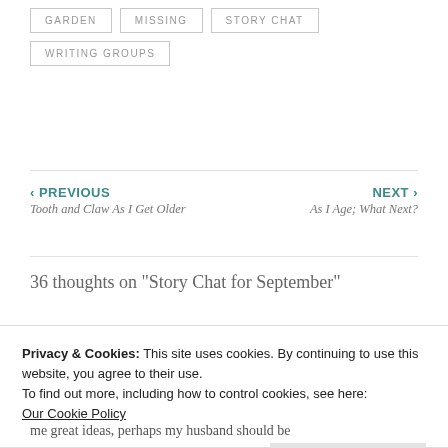GARDEN
MISSING
STORY CHAT
WRITING GROUPS
‹ PREVIOUS
Tooth and Claw As I Get Older
NEXT ›
As I Age; What Next?
36 thoughts on “Story Chat for September”
Privacy & Cookies: This site uses cookies. By continuing to use this website, you agree to their use.
To find out more, including how to control cookies, see here:
Our Cookie Policy
Close and accept
me great ideas, perhaps my husband should be